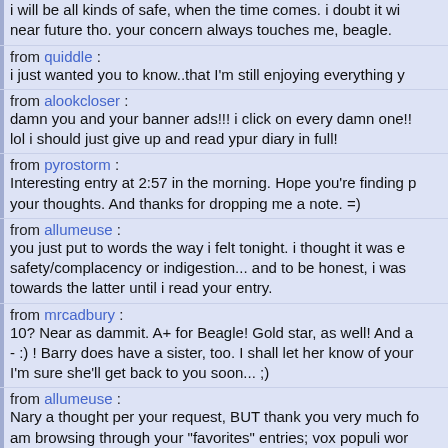i will be all kinds of safe, when the time comes. i doubt it will near future tho. your concern always touches me, beagle.
from quiddle :
i just wanted you to know..that I'm still enjoying everything y
from alookcloser :
damn you and your banner ads!!! i click on every damn one!! lol i should just give up and read ypur diary in full!
from pyrostorm :
Interesting entry at 2:57 in the morning. Hope you're finding your thoughts. And thanks for dropping me a note. =)
from allumeuse :
you just put to words the way i felt tonight. i thought it was safety/complacency or indigestion... and to be honest, i was towards the latter until i read your entry.
from mrcadbury :
10? Near as dammit. A+ for Beagle! Gold star, as well! And a - :) ! Barry does have a sister, too. I shall let her know of your I'm sure she'll get back to you soon... ;)
from allumeuse :
Nary a thought per your request, BUT thank you very much fo am browsing through your "favorites" entries; vox populi wor when it shows great taste. I am in love with the Queen of Sac
from shannonigans :
hey...I just stopped by randomly and I wanted to let you kno